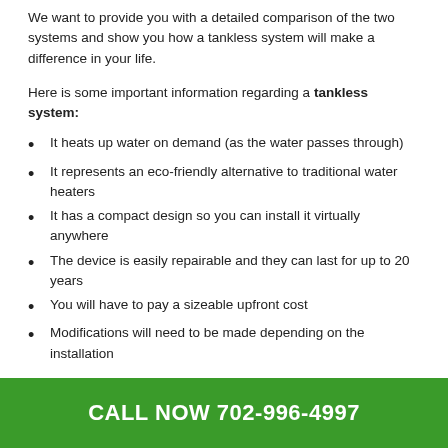We want to provide you with a detailed comparison of the two systems and show you how a tankless system will make a difference in your life.
Here is some important information regarding a tankless system:
It heats up water on demand (as the water passes through)
It represents an eco-friendly alternative to traditional water heaters
It has a compact design so you can install it virtually anywhere
The device is easily repairable and they can last for up to 20 years
You will have to pay a sizeable upfront cost
Modifications will need to be made depending on the installation
CALL NOW 702-996-4997